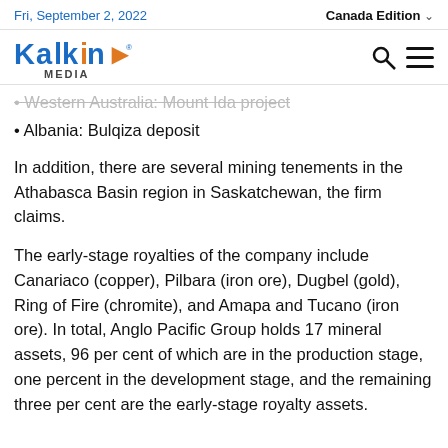Fri, September 2, 2022 | Canada Edition
[Figure (logo): Kalkine Media logo]
• Western Australia: Mount Ida project
• Albania: Bulqiza deposit
In addition, there are several mining tenements in the Athabasca Basin region in Saskatchewan, the firm claims.
The early-stage royalties of the company include Canariaco (copper), Pilbara (iron ore), Dugbel (gold), Ring of Fire (chromite), and Amapa and Tucano (iron ore). In total, Anglo Pacific Group holds 17 mineral assets, 96 per cent of which are in the production stage, one percent in the development stage, and the remaining three per cent are the early-stage royalty assets.